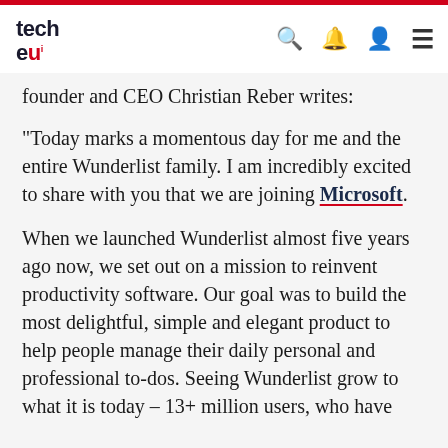tech eu
founder and CEO Christian Reber writes:
"Today marks a momentous day for me and the entire Wunderlist family. I am incredibly excited to share with you that we are joining Microsoft.
When we launched Wunderlist almost five years ago now, we set out on a mission to reinvent productivity software. Our goal was to build the most delightful, simple and elegant product to help people manage their daily personal and professional to-dos. Seeing Wunderlist grow to what it is today – 13+ million users, who have